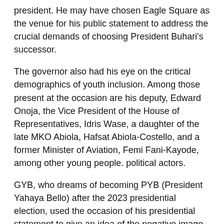president. He may have chosen Eagle Square as the venue for his public statement to address the crucial demands of choosing President Buhari's successor.
The governor also had his eye on the critical demographics of youth inclusion. Among those present at the occasion are his deputy, Edward Onoja, the Vice President of the House of Representatives, Idris Wase, a daughter of the late MKO Abiola, Hafsat Abiola-Costello, and a former Minister of Aviation, Femi Fani-Kayode, among other young people. political actors.
GYB, who dreams of becoming PYB (President Yahaya Bello) after the 2023 presidential election, used the occasion of his presidential statement to give an idea of the negative image his administration has been receiving in the media.
He claimed that powerful enemies, who he said control the